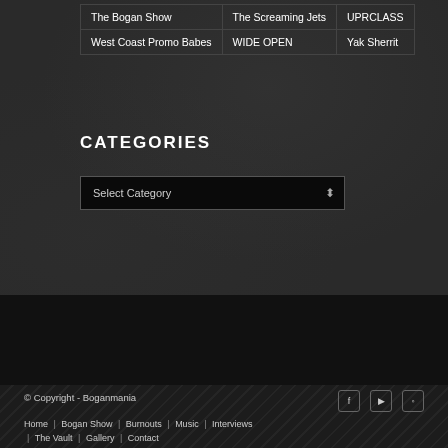| The Bogan Show | The Screaming Jets | UPRCLASS |
| West Coast Promo Babes | WIDE OPEN | Yak Sherrit |
CATEGORIES
Select Category
© Copyright - Boganmania
Home | Bogan Show | Burnouts | Music | Interviews | The Vault | Gallery | Contact